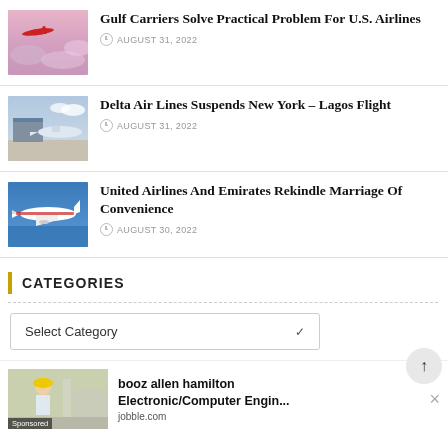[Figure (photo): Airplane flying above clouds at sunset, pink/purple sky]
Gulf Carriers Solve Practical Problem For U.S. Airlines
AUGUST 31, 2022
[Figure (photo): Commercial airplane on tarmac near terminal bridge, cloudy sky]
Delta Air Lines Suspends New York – Lagos Flight
AUGUST 31, 2022
[Figure (photo): White commercial airplane flying over blue water]
United Airlines And Emirates Rekindle Marriage Of Convenience
AUGUST 30, 2022
CATEGORIES
Select Category
[Figure (photo): Construction worker with yellow helmet, sponsored advertisement for booz allen hamilton Electronic/Computer Engineer on jobble.com]